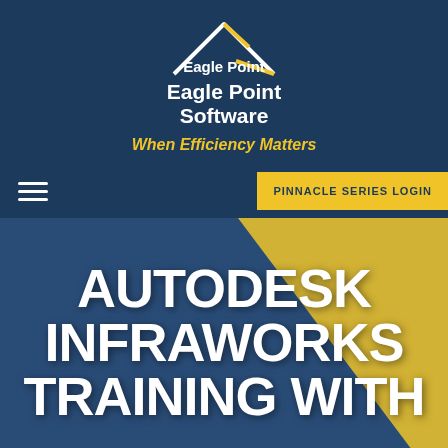[Figure (logo): Eagle Point Software logo: white house/roof outline with yellow accent lines, white text 'Eagle Point Software' below]
When Efficiency Matters
PINNACLE SERIES LOGIN
AUTODESK INFRAWORKS TRAINING WITH
PRINT OR PDF PAGE
This website uses cookies to improve your experience. By